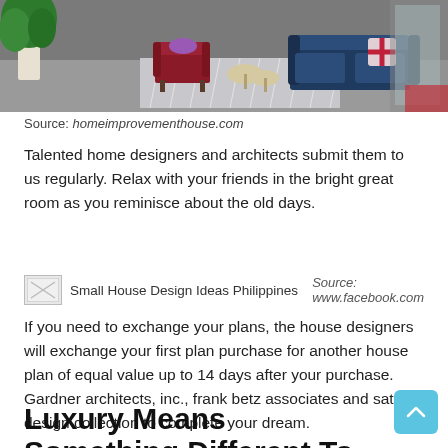[Figure (photo): Interior room photo showing a living area with a red armchair, blue sofa, geometric patterned rug, small side tables, and a large plant]
Source: homeimprovementhouse.com
Talented home designers and architects submit them to us regularly. Relax with your friends in the bright great room as you reminisce about the old days.
[Figure (photo): Small House Design Ideas Philippines - broken image placeholder]
Source: www.facebook.com
If you need to exchange your plans, the house designers will exchange your first plan purchase for another house plan of equal value up to 14 days after your purchase. Gardner architects, inc., frank betz associates and sater design collection to complete your dream.
Luxury Means Something Different To